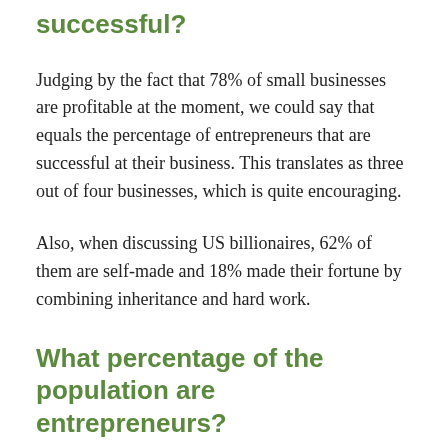successful?
Judging by the fact that 78% of small businesses are profitable at the moment, we could say that equals the percentage of entrepreneurs that are successful at their business. This translates as three out of four businesses, which is quite encouraging.
Also, when discussing US billionaires, 62% of them are self-made and 18% made their fortune by combining inheritance and hard work.
What percentage of the population are entrepreneurs?
Out of the 333 billion people in the world, around 582...